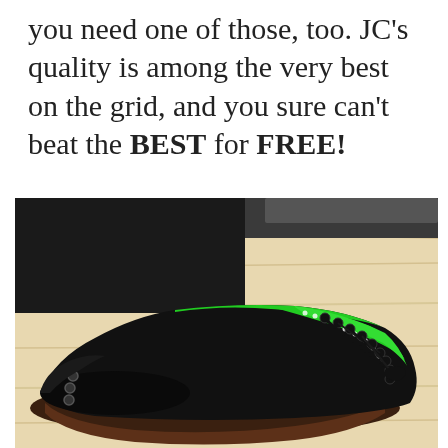you need one of those, too. JC's quality is among the very best on the grid, and you sure can't beat the BEST for FREE!
[Figure (photo): 3D rendered image of a black suede shoe with bright green patent leather stripe along the side and tongue, black laces, brown sole, displayed on a light wood surface with dark background]